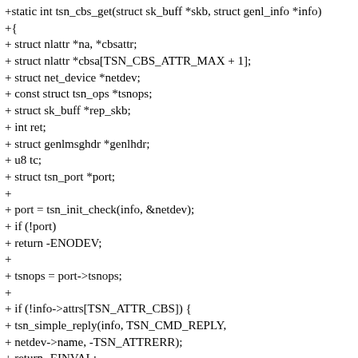+static int tsn_cbs_get(struct sk_buff *skb, struct genl_info *info)
+{
+ struct nlattr *na, *cbsattr;
+ struct nlattr *cbsa[TSN_CBS_ATTR_MAX + 1];
+ struct net_device *netdev;
+ const struct tsn_ops *tsnops;
+ struct sk_buff *rep_skb;
+ int ret;
+ struct genlmsghdr *genlhdr;
+ u8 tc;
+ struct tsn_port *port;
+
+ port = tsn_init_check(info, &netdev);
+ if (!port)
+ return -ENODEV;
+
+ tsnops = port->tsnops;
+
+ if (!info->attrs[TSN_ATTR_CBS]) {
+ tsn_simple_reply(info, TSN_CMD_REPLY,
+ netdev->name, -TSN_ATTRERR);
+ return -EINVAL;
+ }
+
+ if (!tsnops->cbs_get) {
+ tsn_simple_reply(info, TSN_CMD_REPLY,